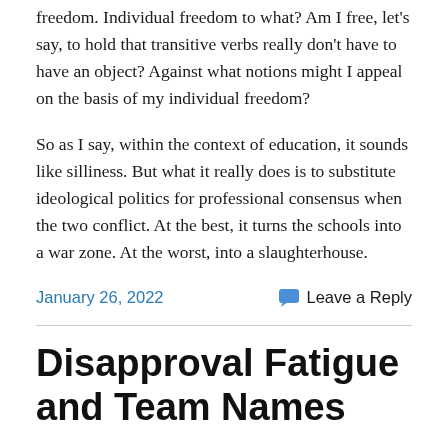freedom. Individual freedom to what? Am I free, let's say, to hold that transitive verbs really don't have to have an object? Against what notions might I appeal on the basis of my individual freedom?
So as I say, within the context of education, it sounds like silliness. But what it really does is to substitute ideological politics for professional consensus when the two conflict. At the best, it turns the schools into a war zone. At the worst, into a slaughterhouse.
January 26, 2022
Leave a Reply
Disapproval Fatigue and Team Names